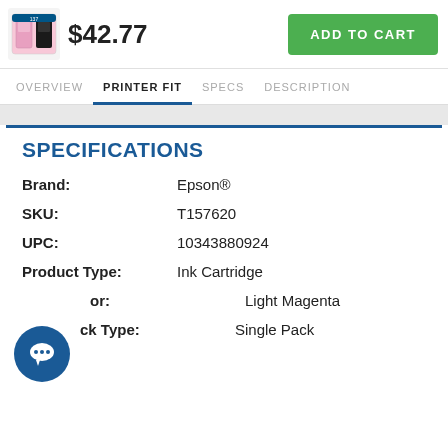[Figure (photo): Epson ink cartridge product image]
$42.77
ADD TO CART
OVERVIEW  PRINTER FIT  SPECS  DESCRIPTION
SPECIFICATIONS
| Field | Value |
| --- | --- |
| Brand: | Epson® |
| SKU: | T157620 |
| UPC: | 10343880924 |
| Product Type: | Ink Cartridge |
| Color: | Light Magenta |
| Pack Type: | Single Pack |